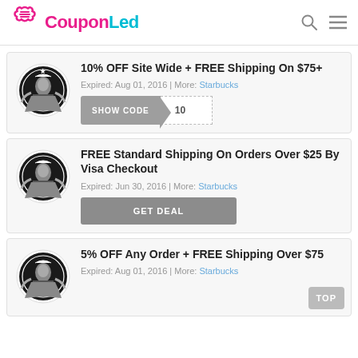CouponLed
10% OFF Site Wide + FREE Shipping On $75+
Expired: Aug 01, 2016 | More: Starbucks
SHOW CODE | 10
FREE Standard Shipping On Orders Over $25 By Visa Checkout
Expired: Jun 30, 2016 | More: Starbucks
GET DEAL
5% OFF Any Order + FREE Shipping Over $75
Expired: Aug 01, 2016 | More: Starbucks